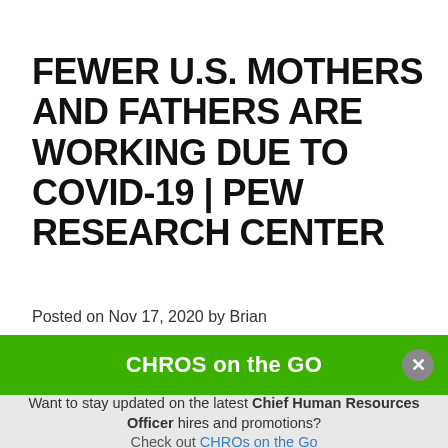FEWER U.S. MOTHERS AND FATHERS ARE WORKING DUE TO COVID-19 | PEW RESEARCH CENTER
Posted on Nov 17, 2020 by Brian
Workforce Trends
Tags: Labor Market
[Figure (other): Green promotional banner overlay reading 'CHROS on the GO' with a close button]
Want to stay updated on the latest Chief Human Resources Officer hires and promotions?
Check out CHROs on the Go